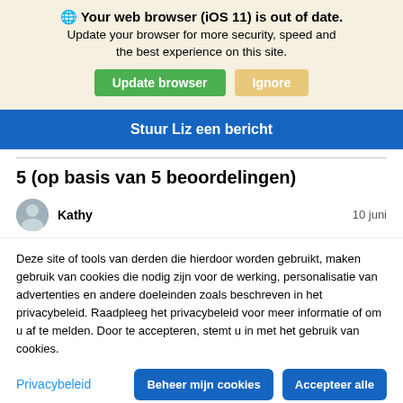🌐 Your web browser (iOS 11) is out of date. Update your browser for more security, speed and the best experience on this site.
Update browser | Ignore
Stuur Liz een bericht
5 (op basis van 5 beoordelingen)
Kathy 10 juni
Deze site of tools van derden die hierdoor worden gebruikt, maken gebruik van cookies die nodig zijn voor de werking, personalisatie van advertenties en andere doeleinden zoals beschreven in het privacybeleid. Raadpleeg het privacybeleid voor meer informatie of om u af te melden. Door te accepteren, stemt u in met het gebruik van cookies.
Privacybeleid
Beheer mijn cookies
Accepteer alle